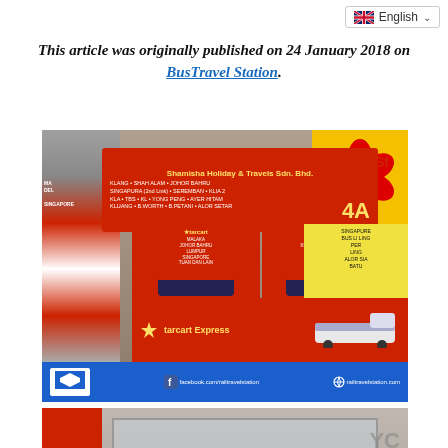English (language selector)
This article was originally published on 24 January 2018 on BusTravel Station.
[Figure (photo): Interior of a bus terminal showing ticket booths. A red sign reads 'Shamisha Holiday & Travels Sdn. Bhd.' with routes including Klang, Shah Alam, Johor Bahru, Singapore, Seremban, KLIA2, KLA, TBS, KL, Yong Peng, Ayer Hitam, Kluang, B.Worth, B.Petani, Alor Setar, marked 4A. Below are Starcart Express ticket counters with red banners and a blue footer bar showing facebook.com/railtravelstation and railtravelstation.com.]
[Figure (photo): Close-up of a glass window at bus counter showing text: KAUNTER 4A (TEL: 06-...), MALACCA – JOHOR BAHRU..., SINGAPORE (via TUAN 2...), and additional route information.]